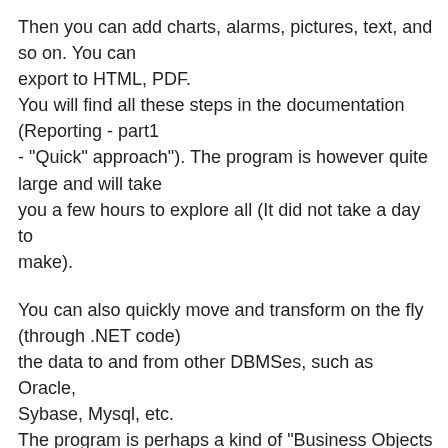Then you can add charts, alarms, pictures, text, and so on. You can export to HTML, PDF. You will find all these steps in the documentation (Reporting - part1 - "Quick" approach"). The program is however quite large and will take you a few hours to explore all (It did not take a day to make).
You can also quickly move and transform on the fly (through .NET code) the data to and from other DBMSes, such as Oracle, Sybase, Mysql, etc. The program is perhaps a kind of "Business Objects full client", much simplified and more friendy, in my opinion, closer to the